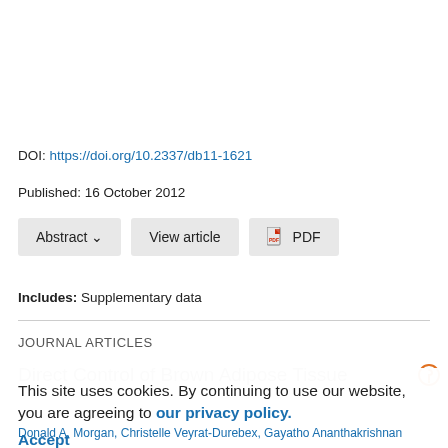DOI: https://doi.org/10.2337/db11-1621
Published: 16 October 2012
Abstract ∨   View article   🗎 PDF
Includes: Supplementary data
JOURNAL ARTICLES
Direct Control of Brown Adipose Tissue
This site uses cookies. By continuing to use our website, you are agreeing to our privacy policy. Accept
Donald A. Morgan, Christelle Veyrat-Durebex, Gayatho Ananthakrishnan